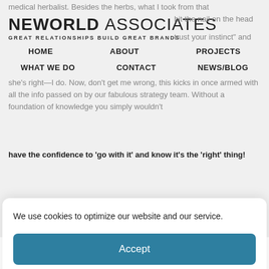[Figure (screenshot): Website header with Neworld Associates logo and navigation menu partially visible behind cookie consent overlay]
medical herbalist. Besides the herbs, what I took from that
hit the nail on the head
trust your instinct" and she's right—I do. Now, don't get me wrong, this kicks in once armed with all the info passed on by our fabulous strategy team. Without a foundation of knowledge you simply wouldn't have the confidence to 'go with it' and know it's the 'right' thing!
We use cookies to optimize our website and our service.
Accept
Dismiss
Preferences
Cookie Policy   Privacy